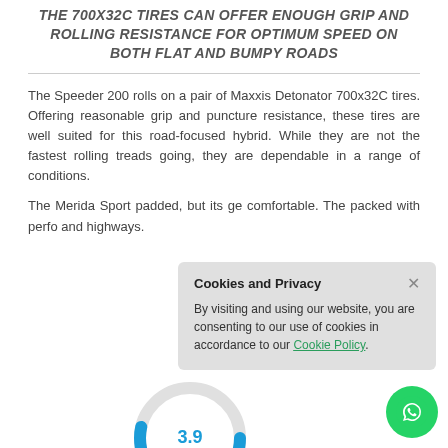THE 700X32C TIRES CAN OFFER ENOUGH GRIP AND ROLLING RESISTANCE FOR OPTIMUM SPEED ON BOTH FLAT AND BUMPY ROADS
The Speeder 200 rolls on a pair of Maxxis Detonator 700x32C tires. Offering reasonable grip and puncture resistance, these tires are well suited for this road-focused hybrid. While they are not the fastest rolling treads going, they are dependable in a range of conditions.
The Merida Sport padded, but its ge comfortable. The packed with perfo and highways.
[Figure (infographic): Cookie and Privacy popup overlay with title 'Cookies and Privacy', close button X, and text about cookie policy with a green hyperlink 'Cookie Policy']
[Figure (donut-chart): Rating donut chart showing 3.9]
[Figure (illustration): WhatsApp green circular chat button in bottom right corner]